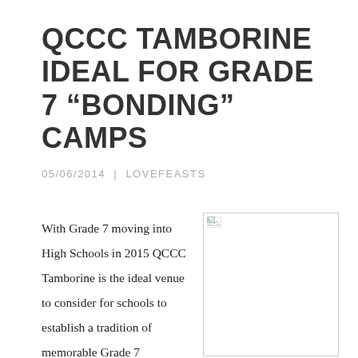QCCC TAMBORINE IDEAL FOR GRADE 7 “BONDING” CAMPS
05/06/2014  |  LOVEFEASTS
With Grade 7 moving into High Schools in 2015 QCCC Tamborine is the ideal venue to consider for schools to establish a tradition of memorable Grade 7 “bonding” camps. Entering High School is always a big transition and schools will be drawing their cohort from
[Figure (photo): Placeholder image (broken/unloaded) showing a white rectangle with border and broken image icon in top-left corner]